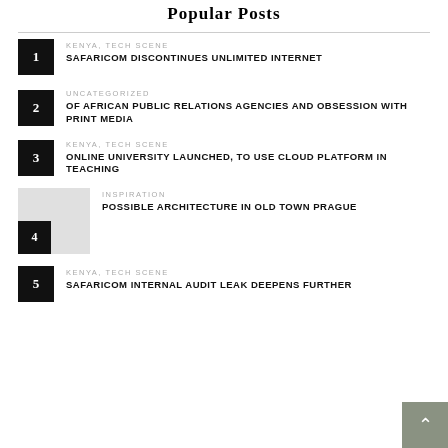Popular Posts
1 | KENYA, TECH SCENE | SAFARICOM DISCONTINUES UNLIMITED INTERNET
2 | UNCATEGORIZED | OF AFRICAN PUBLIC RELATIONS AGENCIES AND OBSESSION WITH PRINT MEDIA
3 | KENYA, TECH SCENE | ONLINE UNIVERSITY LAUNCHED, TO USE CLOUD PLATFORM IN TEACHING
4 | INSPIRATION | POSSIBLE ARCHITECTURE IN OLD TOWN PRAGUE
5 | KENYA, TECH SCENE | SAFARICOM INTERNAL AUDIT LEAK DEEPENS FURTHER